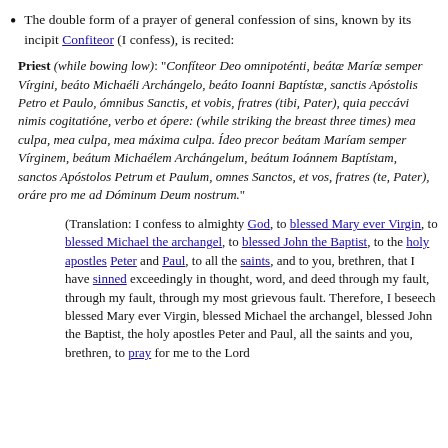The double form of a prayer of general confession of sins, known by its incipit Confiteor (I confess), is recited:
Priest (while bowing low): "Confiteor Deo omnipoténti, beátæ Maríæ semper Vírgini, beáto Michaéli Archángelo, beáto Ioanni Baptístæ, sanctis Apóstolis Petro et Paulo, ómnibus Sanctis, et vobis, fratres (tibi, Pater), quia peccávi nimis cogitatióne, verbo et ópere: (while striking the breast three times) mea culpa, mea culpa, mea máxima culpa. Ídeo precor beátam Maríam semper Vírginem, beátum Michaélem Archángelum, beátum Ioánnem Baptístam, sanctos Apóstolos Petrum et Paulum, omnes Sanctos, et vos, fratres (te, Pater), oráre pro me ad Dóminum Deum nostrum."
(Translation: I confess to almighty God, to blessed Mary ever Virgin, to blessed Michael the archangel, to blessed John the Baptist, to the holy apostles Peter and Paul, to all the saints, and to you, brethren, that I have sinned exceedingly in thought, word, and deed through my fault, through my fault, through my most grievous fault. Therefore, I beseech blessed Mary ever Virgin, blessed Michael the archangel, blessed John the Baptist, the holy apostles Peter and Paul, all the saints and you, brethren, to pray for me to the Lord